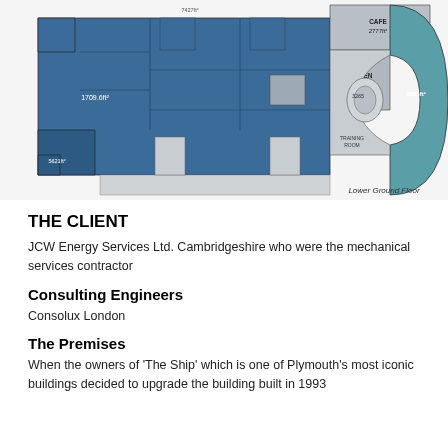[Figure (schematic): Lower Ground Floor architectural plan of 'The Ship' building, showing blue-shaded office areas with labels such as '1709.6ft²' and '5621ft²', grey areas for kitchen (956ft²) and café (2777ft²), teal-shaded curved area labelled '5013ft²', and a central curved section labelled '3265'. The plan has a distinctive ship-bow shape. Caption reads 'Lower Ground Floor'.]
Lower Ground Floor
THE CLIENT
JCW Energy Services Ltd. Cambridgeshire who were the mechanical services contractor
Consulting Engineers
Consolux London
The Premises
When the owners of 'The Ship' which is one of Plymouth's most iconic buildings decided to upgrade the building built in 1993